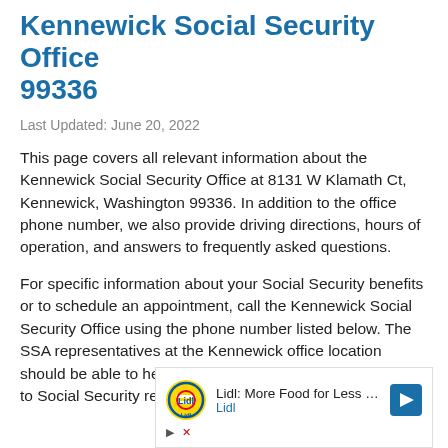Kennewick Social Security Office 99336
Last Updated: June 20, 2022
This page covers all relevant information about the Kennewick Social Security Office at 8131 W Klamath Ct, Kennewick, Washington 99336. In addition to the office phone number, we also provide driving directions, hours of operation, and answers to frequently asked questions.
For specific information about your Social Security benefits or to schedule an appointment, call the Kennewick Social Security Office using the phone number listed below. The SSA representatives at the Kennewick office location should be able to help with any important questions related to Social Security retirement benefits,
[Figure (other): Advertisement banner for Lidl: More Food for Less Money, showing Lidl logo and a blue navigation arrow icon, with play and close controls.]